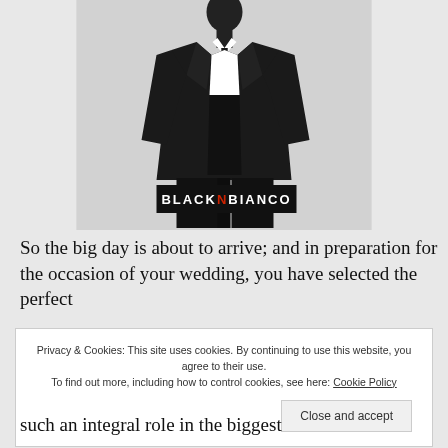[Figure (photo): A black boy's suit displayed on a mannequin. The suit includes a black jacket, white dress shirt, black tie, black vest, and black trousers. A Black N Bianco brand label is visible at the bottom of the image.]
So the big day is about to arrive; and in preparation for the occasion of your wedding, you have selected the perfect
Privacy & Cookies: This site uses cookies. By continuing to use this website, you agree to their use.
To find out more, including how to control cookies, see here: Cookie Policy
such an integral role in the biggest